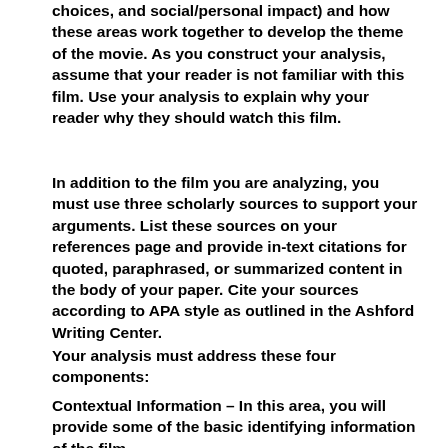choices, and social/personal impact) and how these areas work together to develop the theme of the movie. As you construct your analysis, assume that your reader is not familiar with this film. Use your analysis to explain why your reader why they should watch this film.
In addition to the film you are analyzing, you must use three scholarly sources to support your arguments. List these sources on your references page and provide in-text citations for quoted, paraphrased, or summarized content in the body of your paper. Cite your sources according to APA style as outlined in the Ashford Writing Center.
Your analysis must address these four components:
Contextual Information – In this area, you will provide some of the basic identifying information of the film.